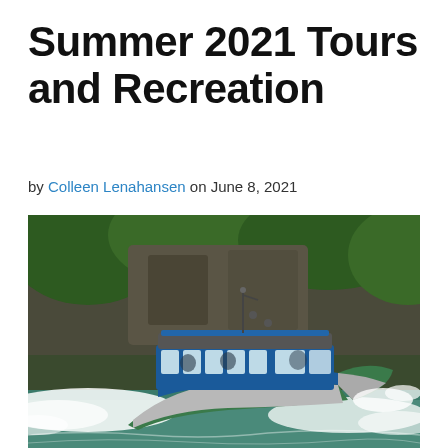Summer 2021 Tours and Recreation
by Colleen Lenahansen on June 8, 2021
[Figure (photo): A blue and green passenger tour boat speeding through water with white wake spray, with forested rocky cliffs in the background.]